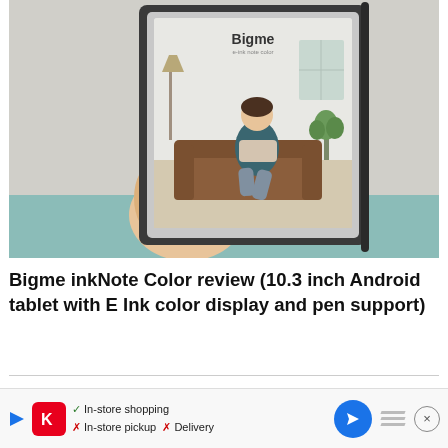[Figure (photo): A hand holding a Bigme inkNote Color e-ink tablet displaying a wallpaper with an illustrated person sitting on a couch reading, with 'Bigme' text at the top of the screen. A stylus is visible on the right edge of the device.]
Bigme inkNote Color review (10.3 inch Android tablet with E Ink color display and pen support)
[Figure (other): Advertisement banner showing a play button, a red K logo, checkmarks for In-store shopping, X marks for In-store pickup and Delivery, a blue navigation arrow icon, diagonal stripes graphic, and a close button.]